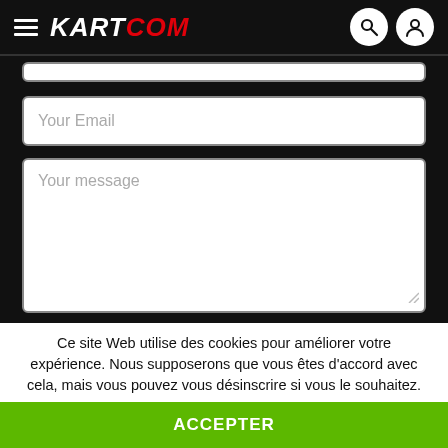KARTCOM
Your Email
Your message
Send
This website is protected by reCAPTCHA. Google's privacy policy and terms
Ce site Web utilise des cookies pour améliorer votre expérience. Nous supposerons que vous êtes d'accord avec cela, mais vous pouvez vous désinscrire si vous le souhaitez.
ACCEPTER